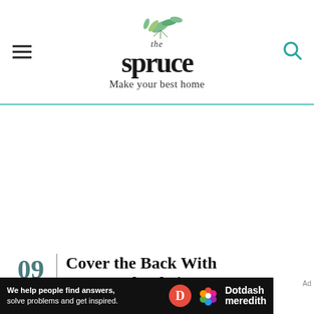the spruce — Make your best home
[Figure (other): Large white advertisement area placeholder in the middle of the page]
09 of 24 — Cover the Back With Patterned Fabric
White DIY bookcase makeover with a patterned fabric back
[Figure (other): Dotdash Meredith advertisement banner: We help people find answers, solve problems and get inspired.]